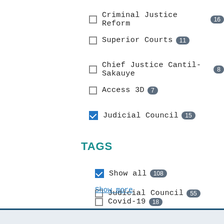Criminal Justice Reform 16
Superior Courts 11
Chief Justice Cantil-Sakauye 8
Access 3D 7
Judicial Council 15
TAGS
Show all 108
Judicial Council 55
Covid-19 18
Show more